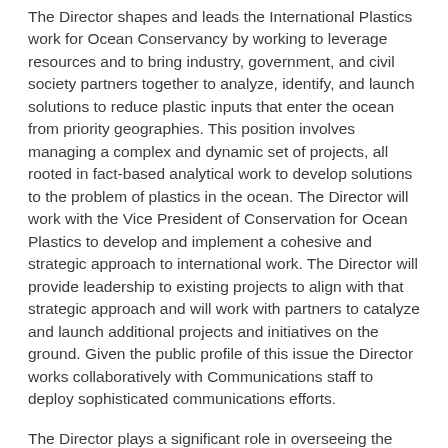The Director shapes and leads the International Plastics work for Ocean Conservancy by working to leverage resources and to bring industry, government, and civil society partners together to analyze, identify, and launch solutions to reduce plastic inputs that enter the ocean from priority geographies. This position involves managing a complex and dynamic set of projects, all rooted in fact-based analytical work to develop solutions to the problem of plastics in the ocean. The Director will work with the Vice President of Conservation for Ocean Plastics to develop and implement a cohesive and strategic approach to international work. The Director will provide leadership to existing projects to align with that strategic approach and will work with partners to catalyze and launch additional projects and initiatives on the ground. Given the public profile of this issue the Director works collaboratively with Communications staff to deploy sophisticated communications efforts.
The Director plays a significant role in overseeing the project budget, attracting resources, and supporting ongoing relationships with funders. The Director reports to the Vice President of Conservation for Ocean Plastics and works closely with the other programs within the Trash Free Seas portfolio, which include the International Coastal Cleanup, U.S. domestic plastics, and a